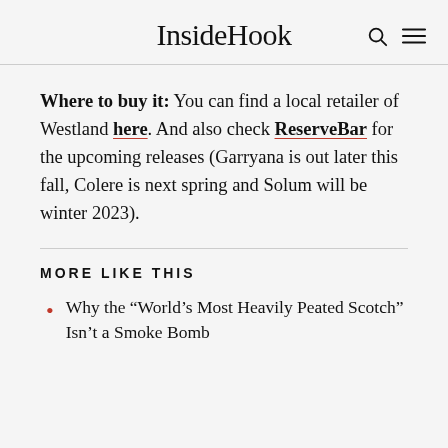InsideHook
Where to buy it: You can find a local retailer of Westland here. And also check ReserveBar for the upcoming releases (Garryana is out later this fall, Colere is next spring and Solum will be winter 2023).
MORE LIKE THIS
Why the “World’s Most Heavily Peated Scotch” Isn’t a Smoke Bomb